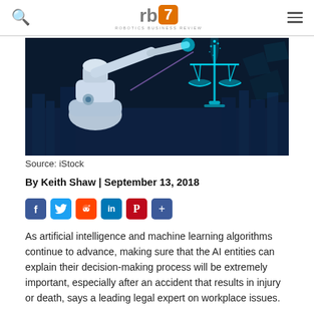Robotics Business Review — rb7 logo
[Figure (photo): A robotic arm reaching toward a glowing cyan holographic scales-of-justice symbol against a dark blue cityscape background.]
Source: iStock
By Keith Shaw | September 13, 2018
As artificial intelligence and machine learning algorithms continue to advance, making sure that the AI entities can explain their decision-making process will be extremely important, especially after an accident that results in injury or death, says a leading legal expert on workplace issues.